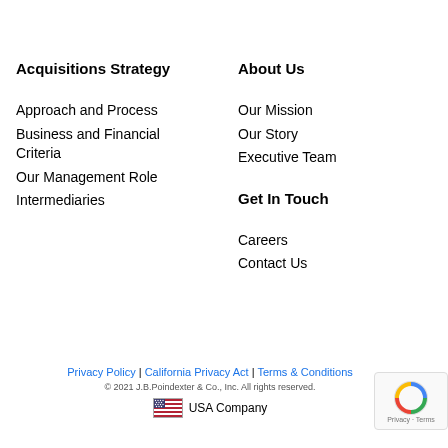Acquisitions Strategy
Approach and Process
Business and Financial Criteria
Our Management Role
Intermediaries
About Us
Our Mission
Our Story
Executive Team
Get In Touch
Careers
Contact Us
Privacy Policy | California Privacy Act | Terms & Conditions
© 2021 J.B.Poindexter & Co., Inc. All rights reserved.
USA Company